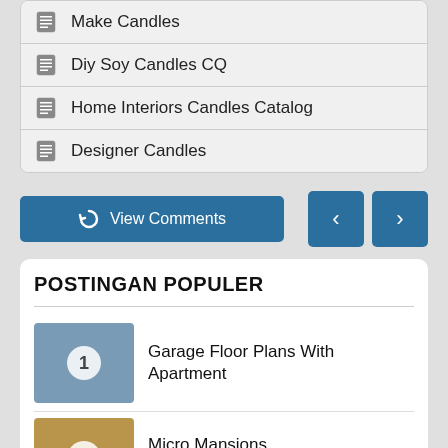Make Candles
Diy Soy Candles CQ
Home Interiors Candles Catalog
Designer Candles
View Comments
POSTINGAN POPULER
Garage Floor Plans With Apartment
Micro Mansions